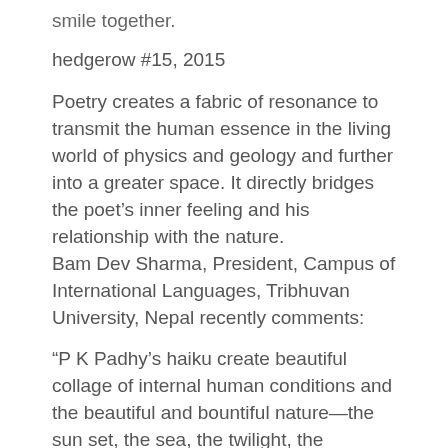smile together.
hedgerow #15, 2015
Poetry creates a fabric of resonance to transmit the human essence in the living world of physics and geology and further into a greater space. It directly bridges the poet's inner feeling and his relationship with the nature.
Bam Dev Sharma, President, Campus of International Languages, Tribhuvan University, Nepal recently comments:
“P K Padhy’s haiku create beautiful collage of internal human conditions and the beautiful and bountiful nature—the sun set, the sea, the twilight, the amorous sky. To put this broadly, we can say that he is expert in blending the body with ethereal delight, the flower with fluid, the birds with feathers, the physicality with the